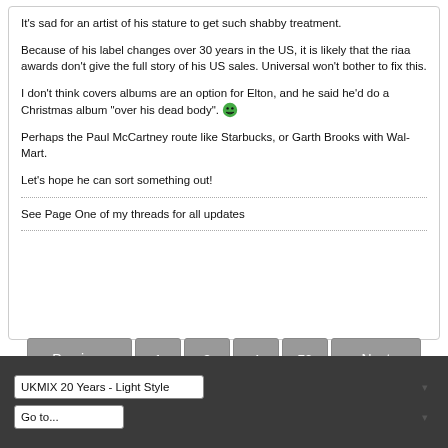It's sad for an artist of his stature to get such shabby treatment.
Because of his label changes over 30 years in the US, it is likely that the riaa awards don't give the full story of his US sales. Universal won't bother to fix this.
I don't think covers albums are an option for Elton, and he said he'd do a Christmas album "over his dead body". 😁
Perhaps the Paul McCartney route like Starbucks, or Garth Brooks with Wal-Mart.
Let's hope he can sort something out!
See Page One of my threads for all updates
UKMIX 20 Years - Light Style | Go to...